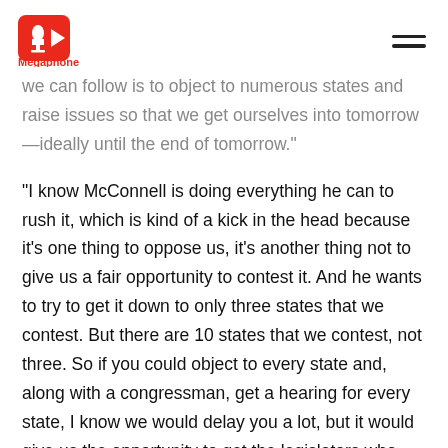Megaphone
we can follow is to object to numerous states and raise issues so that we get ourselves into tomorrow—ideally until the end of tomorrow."
"I know McConnell is doing everything he can to rush it, which is kind of a kick in the head because it's one thing to oppose us, it's another thing not to give us a fair opportunity to contest it. And he wants to try to get it down to only three states that we contest. But there are 10 states that we contest, not three. So if you could object to every state and, along with a congressman, get a hearing for every state, I know we would delay you a lot, but it would give us the opportunity to get the legislators who are very, very close to pulling their vote, particularly after what